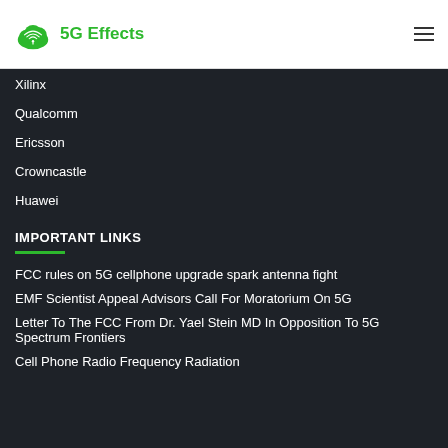5G Effects
Xilinx
Qualcomm
Ericsson
Crowncastle
Huawei
IMPORTANT LINKS
FCC rules on 5G cellphone upgrade spark antenna fight
EMF Scientist Appeal Advisors Call For Moratorium On 5G
Letter To The FCC From Dr. Yael Stein MD In Opposition To 5G Spectrum Frontiers
Cell Phone Radio Frequency Radiation